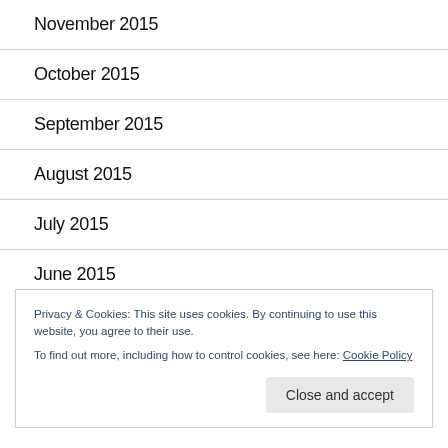November 2015
October 2015
September 2015
August 2015
July 2015
June 2015
Privacy & Cookies: This site uses cookies. By continuing to use this website, you agree to their use.
To find out more, including how to control cookies, see here: Cookie Policy